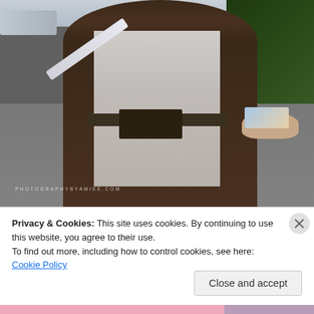[Figure (photo): A person wearing a Jedi/Star Wars costume (brown robe over white/grey tunic with a belt) holding a lightsaber up in one hand and reaching the other hand toward the camera. Watermark text 'PHOTOGRAPHYBYAMIEE.COM' is visible on the photo. Background shows a road/parking area and trees.]
Privacy & Cookies: This site uses cookies. By continuing to use this website, you agree to their use.
To find out more, including how to control cookies, see here: Cookie Policy